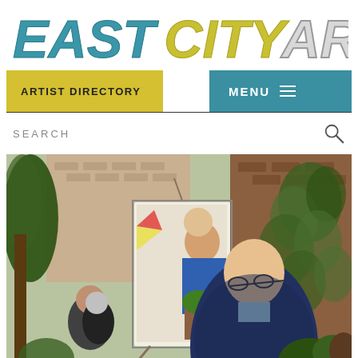[Figure (logo): EastCityArt logo in large stylized bold italic text: EAST in teal/blue, CITY in yellow-green, ART in light gray/white]
ARTIST DIRECTORY
MENU
SEARCH
[Figure (photo): Outdoor art scene: an elderly bald man wearing glasses and a dark blue cardigan stands in front of an easel displaying a colorful portrait painting. In the background is a brick building with ivy, garden plants, and other people. The setting appears to be a backyard art event.]